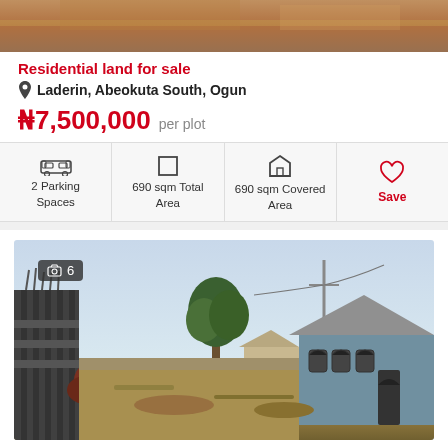[Figure (photo): Top portion of a property listing photo showing reddish-brown soil/land]
Residential land for sale
Laderin, Abeokuta South, Ogun
₦7,500,000 per plot
| 2 Parking Spaces | 690 sqm Total Area | 690 sqm Covered Area | Save |
[Figure (photo): Photo of a residential land plot in Laderin, Abeokuta South, Ogun. Shows a gated property with a tree in the center, a blue house with arched windows on the right, dry grass and dirt ground, fencing on the left. Photo counter badge shows 6 photos.]